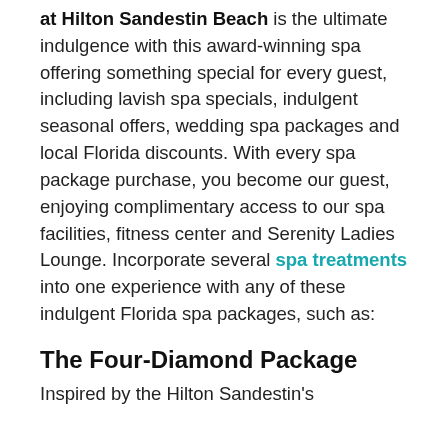at Hilton Sandestin Beach is the ultimate indulgence with this award-winning spa offering something special for every guest, including lavish spa specials, indulgent seasonal offers, wedding spa packages and local Florida discounts. With every spa package purchase, you become our guest, enjoying complimentary access to our spa facilities, fitness center and Serenity Ladies Lounge. Incorporate several spa treatments into one experience with any of these indulgent Florida spa packages, such as:
The Four-Diamond Package
Inspired by the Hilton Sandestin's